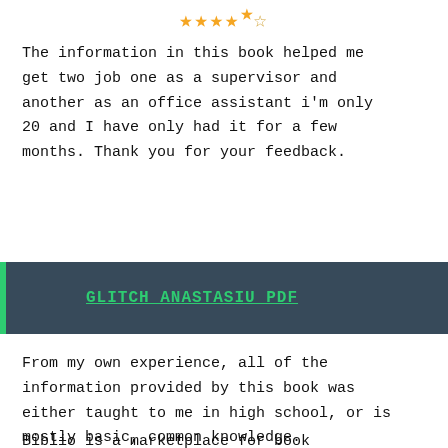[Figure (other): Star rating showing approximately 4.5 stars out of 5 in gold/orange color]
The information in this book helped me get two job one as a supervisor and another as an office assistant i'm only 20 and I have only had it for a few months. Thank you for your feedback.
GLITCH ANASTASIU PDF
From my own experience, all of the information provided by this book was either taught to me in high school, or is mostly basic, common knowledge.
Biblio is a marketplace for book